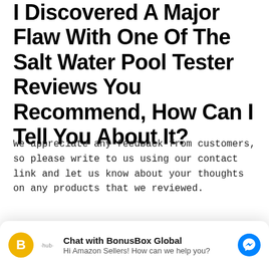I Discovered A Major Flaw With One Of The Salt Water Pool Tester Reviews You Recommend, How Can I Tell You About It?
We appreciate any feedback from customers, so please write to us using our contact link and let us know about your thoughts on any products that we reviewed.
I Placed An Order With
[Figure (other): Chat with BonusBox Global widget. Yellow hexagon icon with letter B, hub label below, chat title 'Chat with BonusBox Global', subtitle 'Hi Amazon Sellers! How can we help you?', blue Messenger icon on right.]
Received The Item –